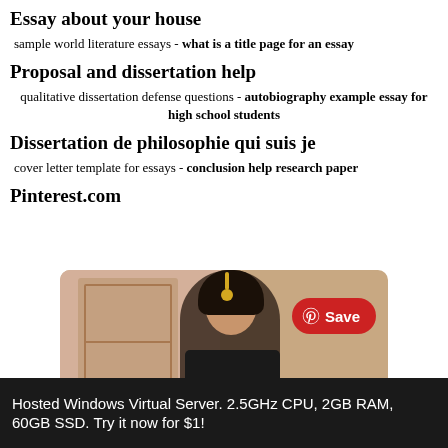Essay about your house
sample world literature essays - what is a title page for an essay
Proposal and dissertation help
qualitative dissertation defense questions - autobiography example essay for high school students
Dissertation de philosophie qui suis je
cover letter template for essays - conclusion help research paper
Pinterest.com
[Figure (screenshot): Pinterest screenshot showing a woman in traditional Indian attire with a red Save button overlay]
Hosted Windows Virtual Server. 2.5GHz CPU, 2GB RAM, 60GB SSD. Try it now for $1!